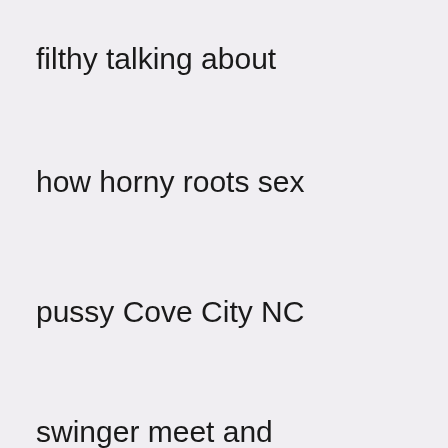filthy talking about
Age: 54
clit th
how horny roots sex
Hair: Grey
Ma
pussy Cove City NC
Name:
swinger meet and
ethelineRundell
greets in New
City: Wood River
Middletown OH.
Junction, Rhode
Marital Status:
Island
Divorced